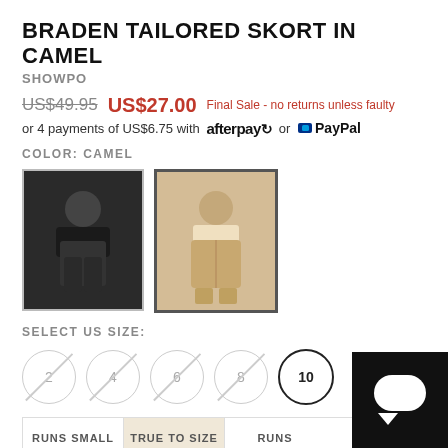BRADEN TAILORED SKORT IN CAMEL
SHOWPO
US$49.95  US$27.00  Final Sale - no returns unless faulty
or 4 payments of US$6.75 with afterpay or PayPal
COLOR: CAMEL
[Figure (photo): Two product thumbnails: black skort outfit and camel skort outfit]
SELECT US SIZE:
Size options: 2 (out of stock), 4 (out of stock), 6 (out of stock), 8 (out of stock), 10 (selected)
RUNS SMALL  TRUE TO SIZE  RUNS
SIZE OUT OF STOCK?